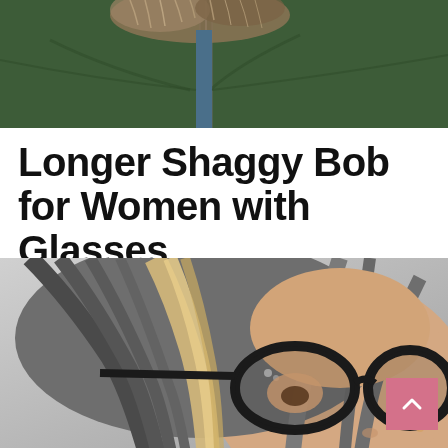[Figure (photo): Top portion of a person wearing a dark green zip-up jacket with fur-trimmed collar, gray/brown hair visible at top]
Longer Shaggy Bob for Women with Glasses
[Figure (photo): Close-up selfie of a woman with gray and blonde shaggy bob haircut wearing large black cat-eye glasses, photographed against a gray background]